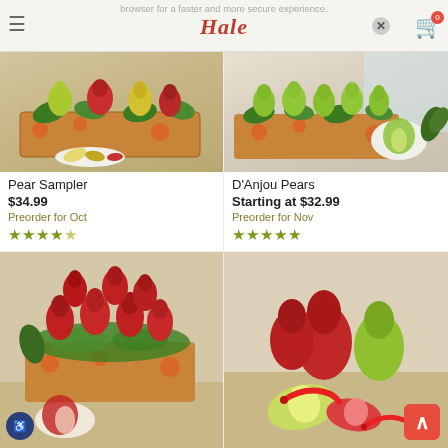browser for a faster and more secure experience. Learn More X
[Figure (screenshot): Hale Groves website product listing page showing pear gift baskets]
Pear Sampler
$34.99
Preorder for Oct
★★★★☆ (4.5 stars)
D'Anjou Pears
Starting at $32.99
Preorder for Nov
★★★★★ (5 stars)